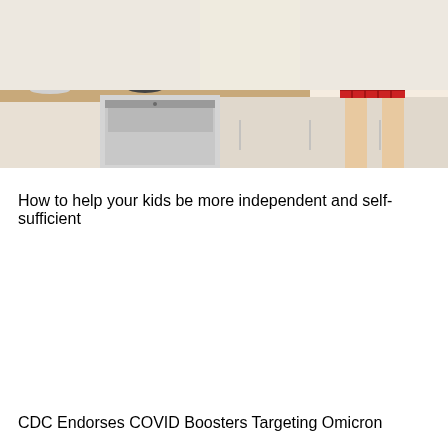[Figure (photo): A child in red plaid shorts standing at a kitchen counter with a dishwasher open, dishes and kitchen items visible on the counter.]
How to help your kids be more independent and self-sufficient
CDC Endorses COVID Boosters Targeting Omicron